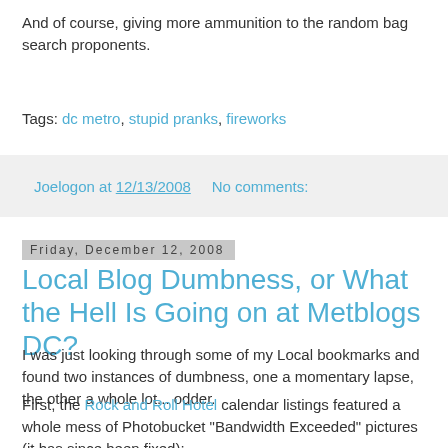And of course, giving more ammunition to the random bag search proponents.
Tags: dc metro, stupid pranks, fireworks
Joelogon at 12/13/2008    No comments:
Friday, December 12, 2008
Local Blog Dumbness, or What the Hell Is Going on at Metblogs DC?
I was just looking through some of my Local bookmarks and found two instances of dumbness, one a momentary lapse, the other a whole lot... odder.
First, the Rock and Roll Hotel calendar listings featured a whole mess of Photobucket "Bandwidth Exceeded" pictures (it has since been fixed):